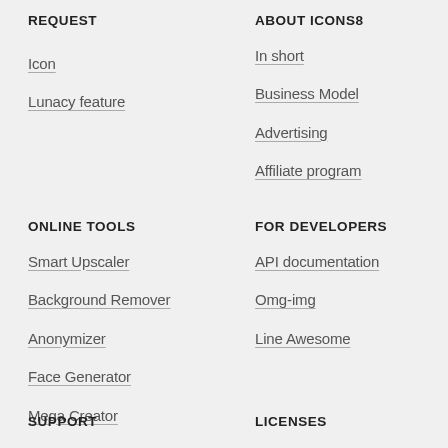REQUEST
Icon
Lunacy feature
ABOUT ICONS8
In short
Business Model
Advertising
Affiliate program
ONLINE TOOLS
Smart Upscaler
Background Remover
Anonymizer
Face Generator
Mega Creator
FOR DEVELOPERS
API documentation
Omg-img
Line Awesome
SUPPORT
LICENSES